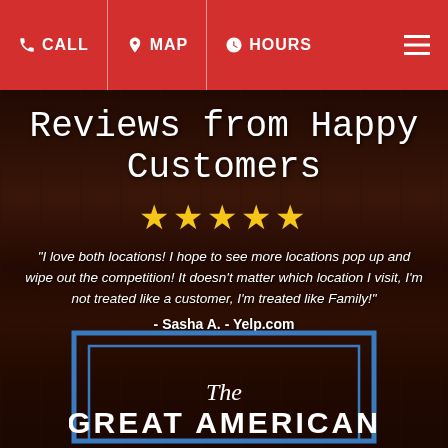CALL | MAP | HOURS
Reviews from Happy Customers
[Figure (other): Five yellow stars rating]
“I love both locations! I hope to see more locations pop up and wipe out the competition! It doesn’t matter which location I visit, I’m not treated like a customer, I’m treated like Family!”
- Sasha A. - Yelp.com
[Figure (logo): The Great American logo with blue rectangular frame border and serif/script typography]